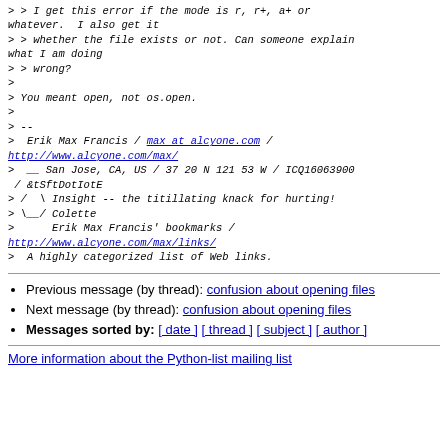> > I get this error if the mode is r, r+, a+ or whatever.  I also get it
> > whether the file exists or not. Can someone explain what I am doing
> > wrong?
>
> You meant open, not os.open.
>
> --
>  Erik Max Francis / max at alcyone.com / http://www.alcyone.com/max/
>  __ San Jose, CA, US / 37 20 N 121 53 W / ICQ16063900 / &tSftDotIotE
> /  \ Insight -- the titillating knack for hurting!
> \__/ Colette
>      Erik Max Francis' bookmarks / http://www.alcyone.com/max/links/
>  A highly categorized list of Web links.
Previous message (by thread): confusion about opening files
Next message (by thread): confusion about opening files
Messages sorted by: [ date ] [ thread ] [ subject ] [ author ]
More information about the Python-list mailing list